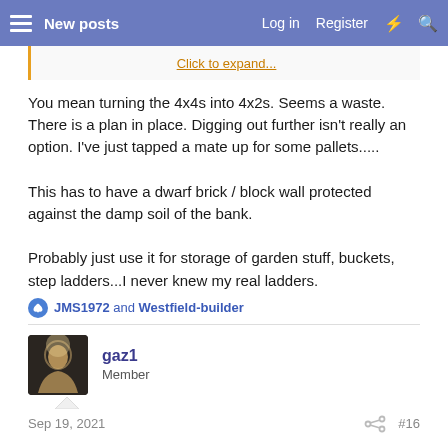New posts | Log in | Register
Click to expand...
You mean turning the 4x4s into 4x2s. Seems a waste. There is a plan in place. Digging out further isn't really an option. I've just tapped a mate up for some pallets.....

This has to have a dwarf brick / block wall protected against the damp soil of the bank.

Probably just use it for storage of garden stuff, buckets, step ladders...I never knew my real ladders.
JMS1972 and Westfield-builder
gaz1
Member
Sep 19, 2021  #16